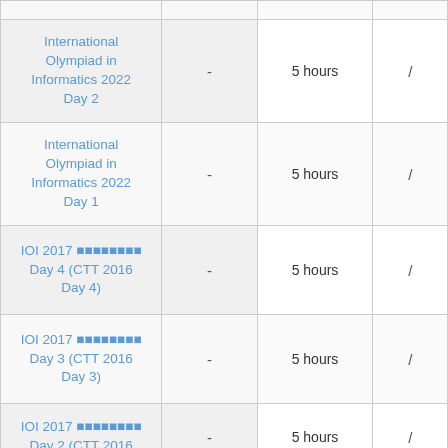| Contest |  | Duration |  |
| --- | --- | --- | --- |
| International Olympiad in Informatics 2022 Day 2 | - | 5 hours | / |
| International Olympiad in Informatics 2022 Day 1 | - | 5 hours | / |
| IOI 2017 ???????????? Day 4 (CTT 2016 Day 4) | - | 5 hours | / |
| IOI 2017 ???????????? Day 3 (CTT 2016 Day 3) | - | 5 hours | / |
| IOI 2017 ???????????? Day 2 (CTT 2016 | - | 5 hours | / |